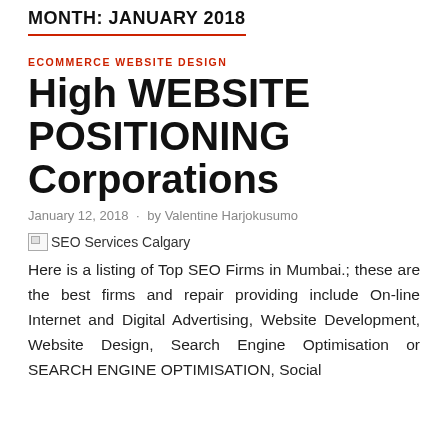MONTH: JANUARY 2018
ECOMMERCE WEBSITE DESIGN
High WEBSITE POSITIONING Corporations
January 12, 2018  ·  by Valentine Harjokusumo
[Figure (other): Broken image placeholder for SEO Services Calgary]
Here is a listing of Top SEO Firms in Mumbai.; these are the best firms and repair providing include On-line Internet and Digital Advertising, Website Development, Website Design, Search Engine Optimisation or SEARCH ENGINE OPTIMISATION, Social